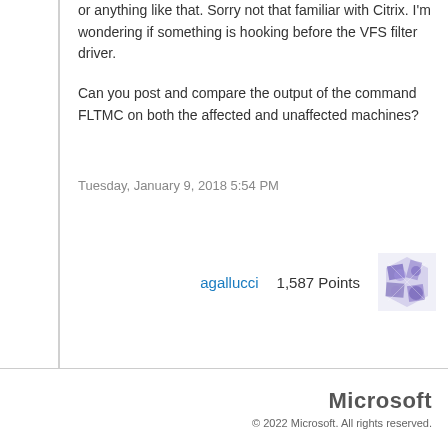or anything like that.  Sorry not that familiar with Citrix.  I'm wondering if something is hooking before the VFS filter driver.

Can you post and compare the output of the command FLTMC on both the affected and unaffected machines?
Tuesday, January 9, 2018 5:54 PM
agallucci
1,587 Points
[Figure (illustration): User avatar for agallucci — abstract geometric/crystalline illustration in purple and blue tones]
Microsoft
© 2022 Microsoft. All rights reserved.